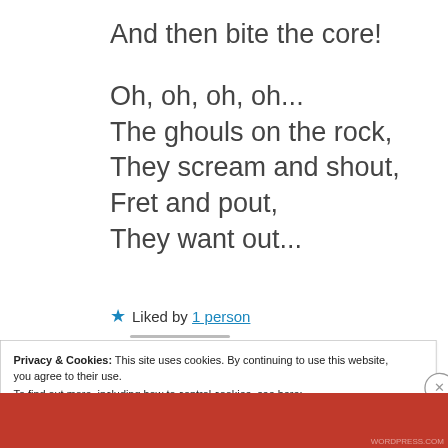And then bite the core!
Oh, oh, oh, oh...
The ghouls on the rock,
They scream and shout,
Fret and pout,
They want out...
★ Liked by 1 person
Privacy & Cookies: This site uses cookies. By continuing to use this website, you agree to their use.
To find out more, including how to control cookies, see here:
Cookie Policy
Close and accept